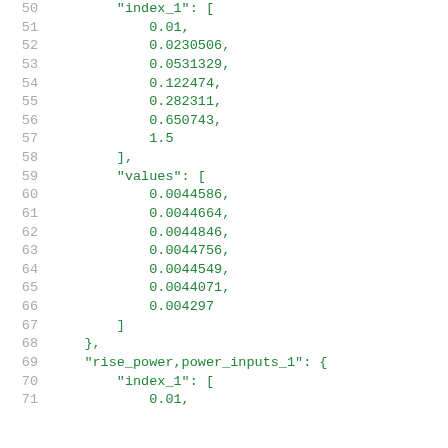Code listing lines 50-71: JSON data structure showing index_1 array with values 0.01 through 1.5, values array with values 0.0044586 through 0.004297, closing braces, and rise_power,power_inputs_1 key with index_1 array starting at 0.01